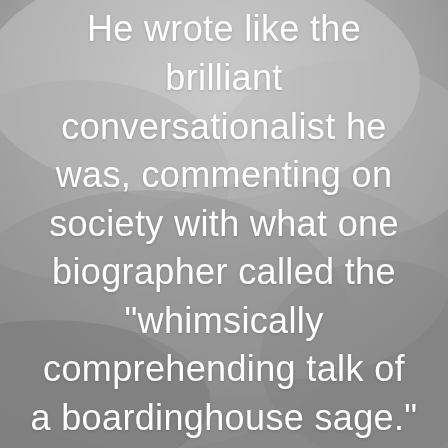[Figure (photo): Grayscale cloudy sky background image serving as backdrop for overlaid quote text.]
He wrote like the brilliant conversationalist he was, commenting on society with what one biographer called the "whimsically comprehending talk of a boardinghouse sage."